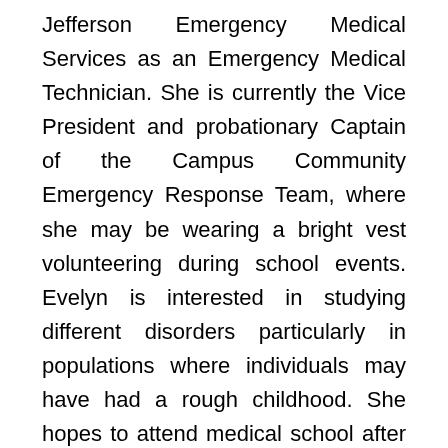Jefferson Emergency Medical Services as an Emergency Medical Technician. She is currently the Vice President and probationary Captain of the Campus Community Emergency Response Team, where she may be wearing a bright vest volunteering during school events. Evelyn is interested in studying different disorders particularly in populations where individuals may have had a rough childhood. She hopes to attend medical school after graduation, and then use what she has learned and apply it in her future career.